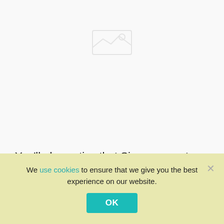[Figure (other): Faint broken image icon placeholder in the upper portion of the page]
You'll also notice that Singapura cats tend to keep their eyes wide open, giving them a round
We use cookies to ensure that we give you the best experience on our website.